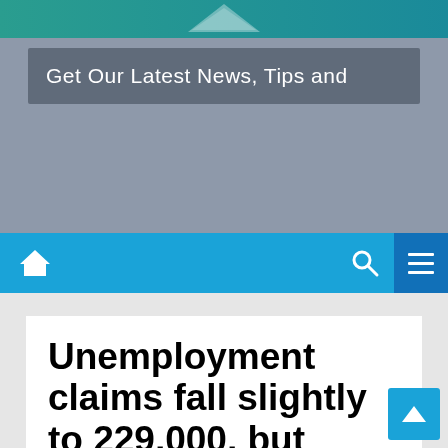[Figure (screenshot): Top teal/green navigation banner with arrow logo]
[Figure (screenshot): Gray subscription/advertisement box with text 'Get Our Latest News, Tips and']
Get Our Latest News, Tips and
[Figure (screenshot): Blue navigation bar with home icon, search icon, and hamburger menu]
Unemployment claims fall slightly to 229,000, but labor